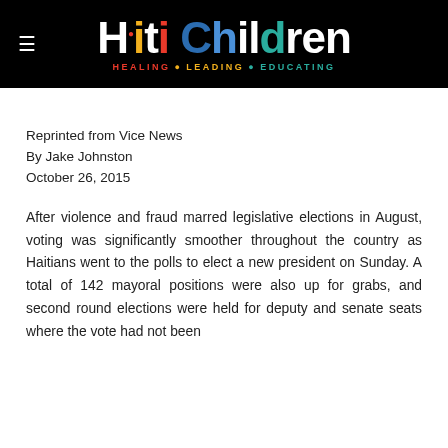Haiti Children — HEALING • LEADING • EDUCATING
Reprinted from Vice News
By Jake Johnston
October 26, 2015
After violence and fraud marred legislative elections in August, voting was significantly smoother throughout the country as Haitians went to the polls to elect a new president on Sunday. A total of 142 mayoral positions were also up for grabs, and second round elections were held for deputy and senate seats where the vote had not been